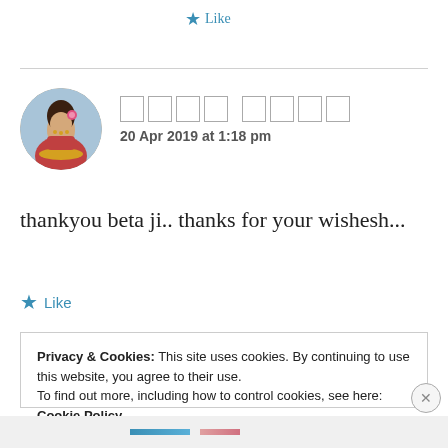★ Like
[Figure (photo): Circular avatar photo of a woman in traditional Indian bridal attire with floral background]
□□□□ □□□□
20 Apr 2019 at 1:18 pm
thankyou beta ji.. thanks for your wishesh...
★ Like
Privacy & Cookies: This site uses cookies. By continuing to use this website, you agree to their use.
To find out more, including how to control cookies, see here: Cookie Policy
Close and accept